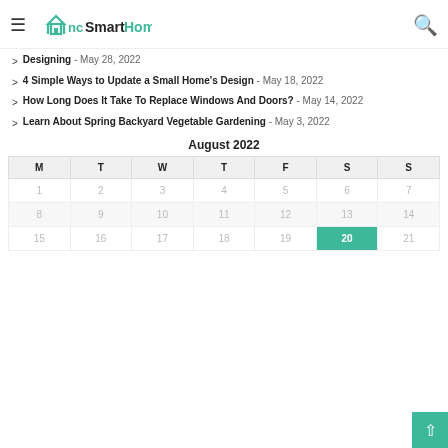NC Smart Homes
Designing - May 28, 2022
4 Simple Ways to Update a Small Home's Design - May 18, 2022
How Long Does It Take To Replace Windows And Doors? - May 14, 2022
Learn About Spring Backyard Vegetable Gardening - May 3, 2022
| M | T | W | T | F | S | S |
| --- | --- | --- | --- | --- | --- | --- |
| 1 | 2 | 3 | 4 | 5 | 6 | 7 |
| 8 | 9 | 10 | 11 | 12 | 13 | 14 |
| 15 | 16 | 17 | 18 | 19 | 20 | 21 |